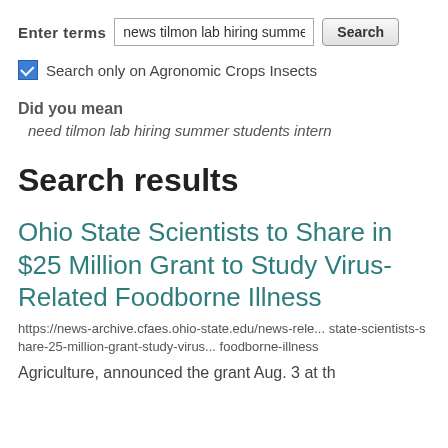Enter terms [news tilmon lab hiring summe...] Search
Search only on Agronomic Crops Insects
Did you mean
need tilmon lab hiring summer students intern
Search results
Ohio State Scientists to Share in $25 Million Grant to Study Virus-Related Foodborne Illness
https://news-archive.cfaes.ohio-state.edu/news-rele... state-scientists-share-25-million-grant-study-virus... foodborne-illness
Agriculture, announced the grant Aug. 3 at th